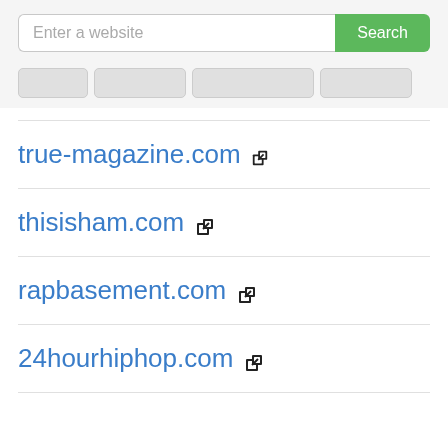Enter a website  Search
true-magazine.com
thisisham.com
rapbasement.com
24hourhiphop.com